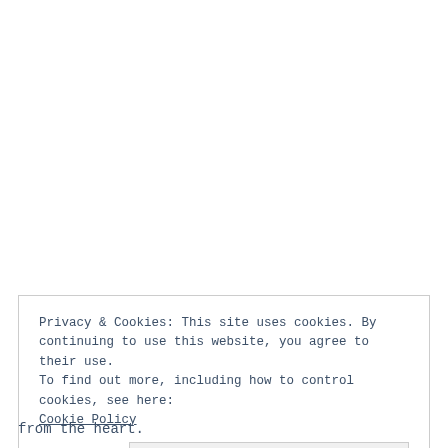Privacy & Cookies: This site uses cookies. By continuing to use this website, you agree to their use.
To find out more, including how to control cookies, see here:
Cookie Policy
Close and accept
from the heart.